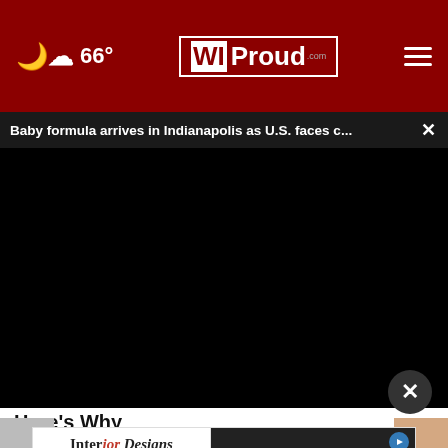☁ 66° | WI Proud
Baby formula arrives in Indianapolis as U.S. faces c...
[Figure (screenshot): Black video player area showing a news video]
Here's Why
So goodly
[Figure (screenshot): Advertisement banner: Interior Designs Showplace Cabinetry on left, YOUR on right with play button]